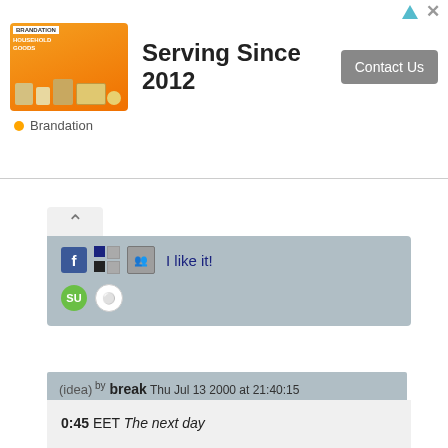[Figure (screenshot): Advertisement banner: orange household goods image on left, 'Serving Since 2012' text in center, 'Contact Us' gray button on right, 'Brandation' attribution below]
[Figure (screenshot): Social sharing widget with caret/arrow up icon and social media sharing icons (Facebook, Digg, StumbleUpon, Reddit) with 'I like it!' text]
(idea) by break Thu Jul 13 2000 at 21:40:15
0:45 EET The next day

Well, my new DVD-ROM drive is up and running. The firmware crack successfully removed the region lock, which is nice since I don't have any Region 2 DVD...